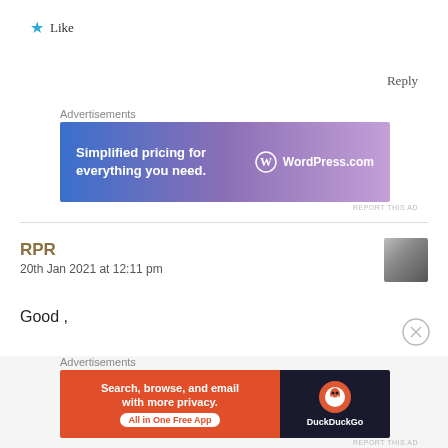★ Like
Reply
Advertisements
[Figure (infographic): WordPress.com advertisement banner: blue-to-purple gradient background with text 'Simplified pricing for everything you need.' and WordPress.com logo on the right]
REPORT THIS AD
RPR
20th Jan 2021 at 12:11 pm
[Figure (photo): Small avatar/profile photo of a person, grayscale, person appears to be smoking or holding something near mouth]
Good ,
Advertisements
[Figure (infographic): DuckDuckGo advertisement banner: orange-red left section with text 'Search, browse, and email with more privacy. All in One Free App' and dark right section with DuckDuckGo duck logo and name]
REPORT THIS AD